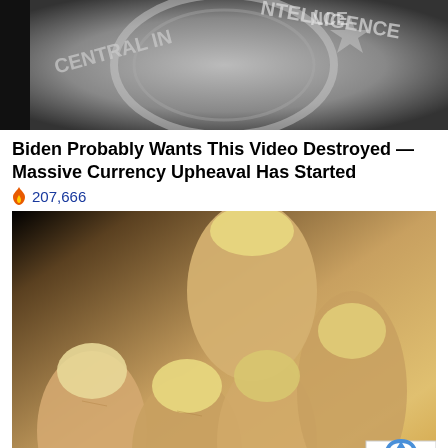[Figure (photo): CIA seal/logo partial view, monochrome, showing 'CENTRAL INTELLIGENCE' text arc]
Biden Probably Wants This Video Destroyed — Massive Currency Upheaval Has Started
🔥 207,666
[Figure (photo): Close-up photo of fingers/toenails with yellowed, discolored nails]
4 Warning Signs Of Dementia (#2 Is Cree
🔥 30,741